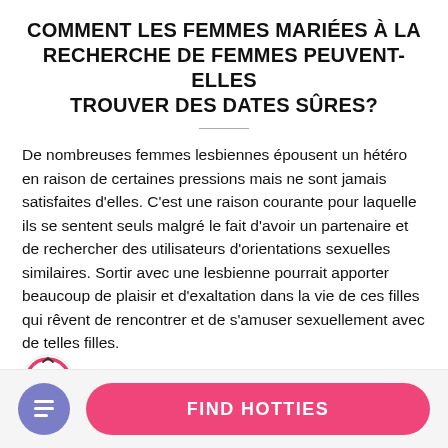COMMENT LES FEMMES MARIÉES À LA RECHERCHE DE FEMMES PEUVENT-ELLES TROUVER DES DATES SÛRES?
De nombreuses femmes lesbiennes épousent un hétéro en raison de certaines pressions mais ne sont jamais satisfaites d'elles. C'est une raison courante pour laquelle ils se sentent seuls malgré le fait d'avoir un partenaire et de rechercher des utilisateurs d'orientations sexuelles similaires. Sortir avec une lesbienne pourrait apporter beaucoup de plaisir et d'exaltation dans la vie de ces filles qui rêvent de rencontrer et de s'amuser sexuellement avec de telles filles.
[Figure (infographic): A circular progress indicator showing 68% in red/pink color]
FIND HOTTIES